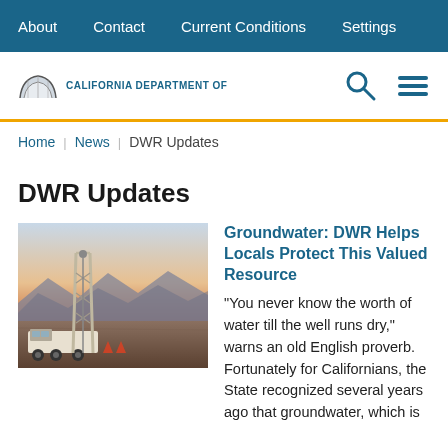About | Contact | Current Conditions | Settings
[Figure (logo): California Department of Water Resources logo with mountain/arch icon and text 'CALIFORNIA DEPARTMENT OF']
Home > News > DWR Updates
DWR Updates
[Figure (photo): A drilling rig truck in a desert landscape at dusk with mountains in the background]
Groundwater: DWR Helps Locals Protect This Valued Resource
“You never know the worth of water till the well runs dry,” warns an old English proverb. Fortunately for Californians, the State recognized several years ago that groundwater, which is